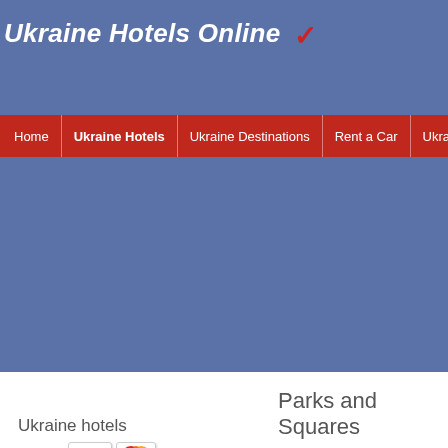Ukraine Hotels Online
Home | Ukraine Hotels | Ukraine Destinations | Rent a Car | Ukraine Cruises | E...
Ukraine hotels
Area:
All
Arrival: 21.08.2022
August 2022
Mo Tu We Th Fr Sa Su
Parks and Squares
Home - Ukraine Destinations - Zhytomyr - Parks
Parks and Squares in